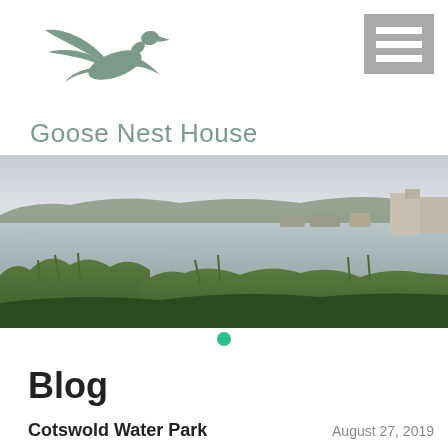[Figure (logo): Flying goose/bird silhouette in muted teal/green color, serving as the logo for Goose Nest House]
Goose Nest House
[Figure (other): Hamburger menu icon — three white horizontal bars on a grey square background]
[Figure (photo): Panoramic photograph of Cotswold Water Park lake at dusk/dawn, with reeds and vegetation in the foreground, calm reflective water, moored boats, and buildings on the far right shore]
Blog
Cotswold Water Park
August 27, 2019